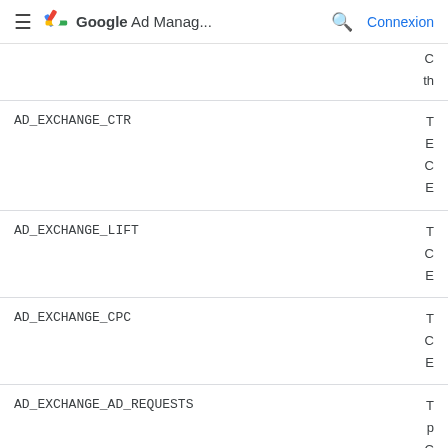Google Ad Manag... Connexion
C
th
| Name | Description |
| --- | --- |
| AD_EXCHANGE_CTR | T
E
C
E |
| AD_EXCHANGE_LIFT | T
C
E |
| AD_EXCHANGE_CPC | T
C
E |
| AD_EXCHANGE_AD_REQUESTS | T
p
C
th |